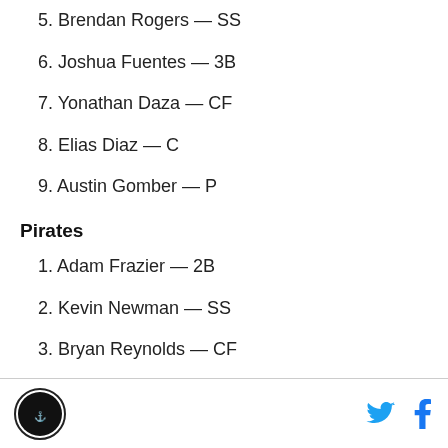5. Brendan Rogers — SS
6. Joshua Fuentes — 3B
7. Yonathan Daza — CF
8. Elias Diaz — C
9. Austin Gomber — P
Pirates
1. Adam Frazier — 2B
2. Kevin Newman — SS
3. Bryan Reynolds — CF
4. Jacob Stallings — C
Logo | Twitter | Facebook